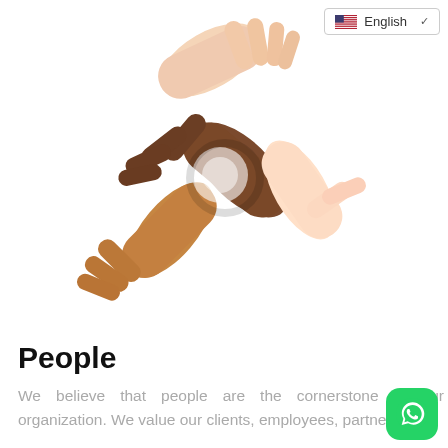[Figure (photo): Multiple hands of different skin tones clasped together in a unity/teamwork gesture, top-down circular view]
People
We believe that people are the cornerstone of our organization. We value our clients, employees, partners,
We use cookies on our website to give you the most relevant experience by remembering your preferences and repeat visits. By clicking "Accept All", you consent to the use of ALL the cookies. However, you may visit "Cookie Settings" to provide a controlled consent.